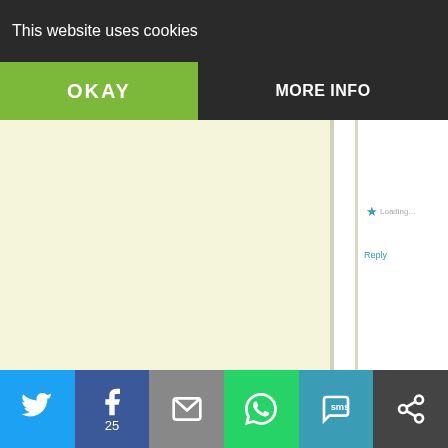This website uses cookies
OKAY
MORE INFO
mavukie says: September 17, 2016 at 3:22 am
Yup, Anna, at finds it hard to beach, unless, of course, some idiot ha speaker 🙂
Loading...
Reply
Trackbacks
CROATIA: Conservative Croatian Demo were in the lead with 62 seats in the 15 Sunday's parliamentary election, preli on a partial vote count showed – @Ace News Services says: